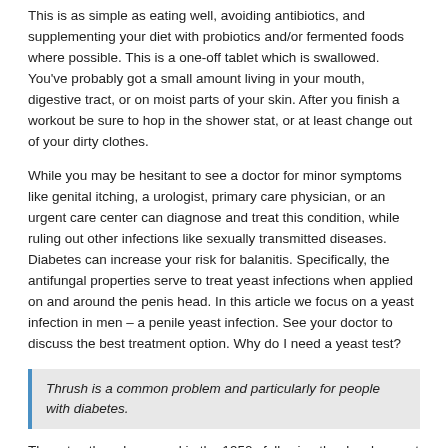This is as simple as eating well, avoiding antibiotics, and supplementing your diet with probiotics and/or fermented foods where possible. This is a one-off tablet which is swallowed. You've probably got a small amount living in your mouth, digestive tract, or on moist parts of your skin. After you finish a workout be sure to hop in the shower stat, or at least change out of your dirty clothes.
While you may be hesitant to see a doctor for minor symptoms like genital itching, a urologist, primary care physician, or an urgent care center can diagnose and treat this condition, while ruling out other infections like sexually transmitted diseases. Diabetes can increase your risk for balanitis. Specifically, the antifungal properties serve to treat yeast infections when applied on and around the penis head. In this article we focus on a yeast infection in men – a penile yeast infection. See your doctor to discuss the best treatment option. Why do I need a yeast test?
Thrush is a common problem and particularly for people with diabetes.
The rates then decreased in the 1950s following the development of nystatin. You may notice blood in the semen. Herpes is a virus and like any other virus travels from cell to cell by secretion of an enzyme that digests a hole in the cell wall. The untreated fungal infection under his foreskin became so irritating that the patient developed